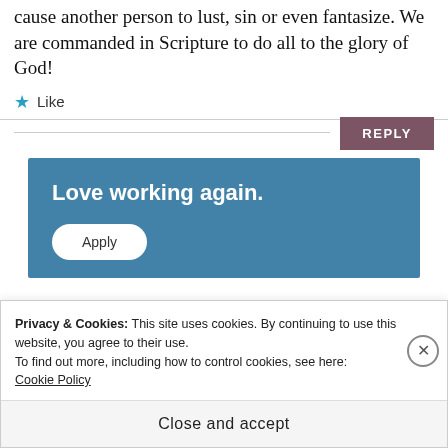cause another person to lust, sin or even fantasize. We are commanded in Scripture to do all to the glory of God!
★ Like
REPLY
[Figure (screenshot): Blue advertisement banner with text 'Love working again.' and an 'Apply' button]
Privacy & Cookies: This site uses cookies. By continuing to use this website, you agree to their use.
To find out more, including how to control cookies, see here:
Cookie Policy
Close and accept